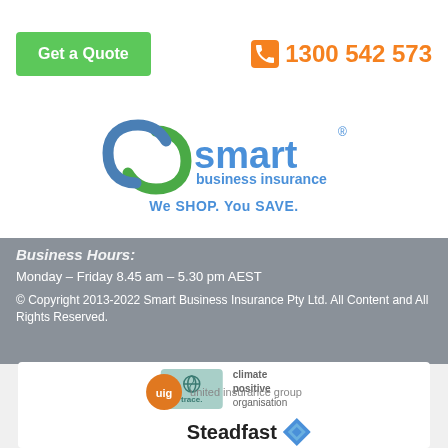Get a Quote
1300 542 573
[Figure (logo): Smart Business Insurance logo with green and blue S swirl, blue 'smart' text, 'business insurance' subtitle, and 'We SHOP. You SAVE.' tagline]
Business Hours:
Monday – Friday 8.45 am – 5.30 pm AEST
© Copyright 2013-2022 Smart Business Insurance Pty Ltd. All Content and All Rights Reserved.
[Figure (logo): Trace climate positive organisation logo — teal box with globe/leaf icon and 'trace.' text, next to 'climate positive organisation' text]
[Figure (logo): United Insurance Group (uig) logo — orange circle with 'uig' letters, followed by 'united insurance group' text]
[Figure (logo): Steadfast logo — blue diamond/cross icon with 'Steadfast' bold text]